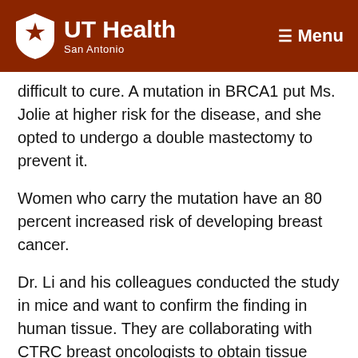UT Health San Antonio — Menu
difficult to cure. A mutation in BRCA1 put Ms. Jolie at higher risk for the disease, and she opted to undergo a double mastectomy to prevent it.
Women who carry the mutation have an 80 percent increased risk of developing breast cancer.
Dr. Li and his colleagues conducted the study in mice and want to confirm the finding in human tissue. They are collaborating with CTRC breast oncologists to obtain tissue from BRCA1 mutation carriers and assess whether the same BRCA1-COBRA1 relationship exists.